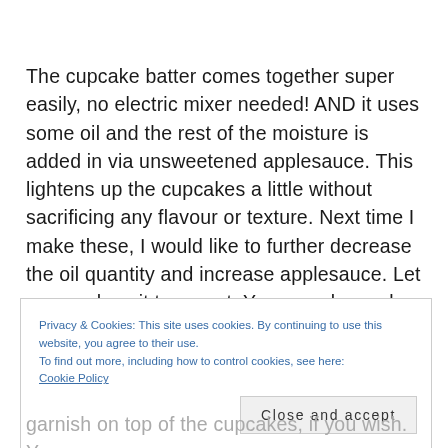The cupcake batter comes together super easily, no electric mixer needed! AND it uses some oil and the rest of the moisture is added in via unsweetened applesauce. This lightens up the cupcakes a little without sacrificing any flavour or texture. Next time I make these, I would like to further decrease the oil quantity and increase applesauce. Let me see how it turns out. You can also make these cupcakes with
Privacy & Cookies: This site uses cookies. By continuing to use this website, you agree to their use.
To find out more, including how to control cookies, see here:
Cookie Policy
Close and accept
garnish on top of the cupcakes, if you wish. You can